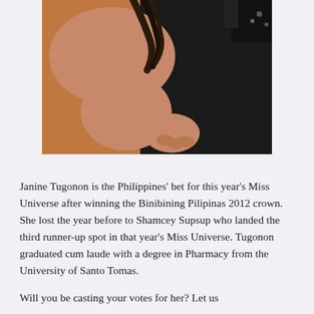[Figure (photo): A woman in a black sleeveless outfit posing against an orange/brown background, her arm bent with hand on hip, dark hair, partial upper body view.]
Janine Tugonon is the Philippines' bet for this year's Miss Universe after winning the Binibining Pilipinas 2012 crown. She lost the year before to Shamcey Supsup who landed the third runner-up spot in that year's Miss Universe. Tugonon graduated cum laude with a degree in Pharmacy from the University of Santo Tomas.
Will you be casting your votes for her? Let us